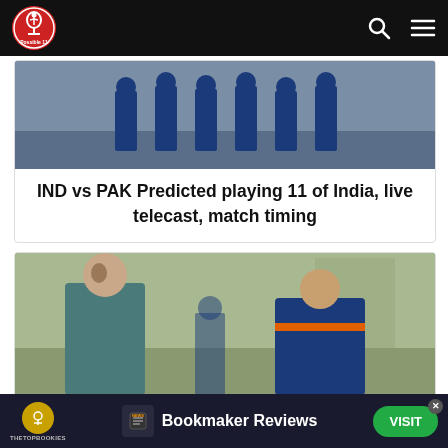Possible 11 — navigation header
[Figure (photo): Cricket players in blue uniforms standing on a field]
IND vs PAK Predicted playing 11 of India, live telecast, match timing
[Figure (photo): Two men facing each other — one in teal shirt and one in Indian cricket blue jersey (Virat Kohli)]
Watch Video: Virat Kohli, Pant, and
Bookmaker Reviews — VISIT — TheTopBookies advertisement banner